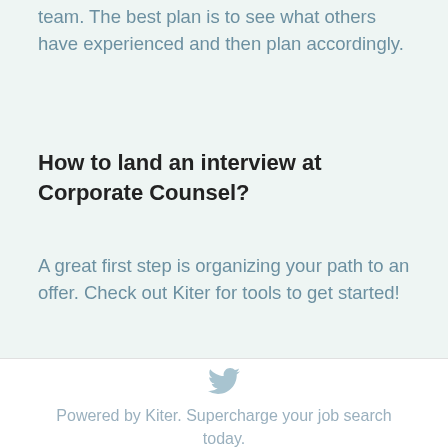team. The best plan is to see what others have experienced and then plan accordingly.
How to land an interview at Corporate Counsel?
A great first step is organizing your path to an offer. Check out Kiter for tools to get started!
[Figure (logo): Twitter bird icon in light blue/gray color]
Powered by Kiter. Supercharge your job search today.